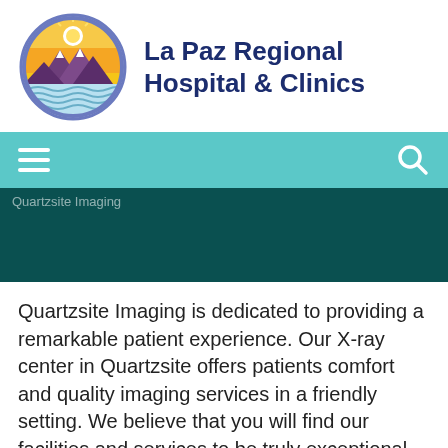[Figure (logo): La Paz Regional Hospital & Clinics circular logo with mountains, sun, and water waves]
La Paz Regional Hospital & Clinics
[Figure (screenshot): Teal navigation bar with hamburger menu icon on left and search icon on right]
[Figure (photo): Dark teal hero banner with faint text 'Quartzsite Imaging']
Quartzsite Imaging is dedicated to providing a remarkable patient experience. Our X-ray center in Quartzsite offers patients comfort and quality imaging services in a friendly setting. We believe that you will find our facilities and services to be truly exceptional. Located next door to La Paz Medical Services. 150 East Tyson Road, Quartzsite, Arizona 928-927-5067 by